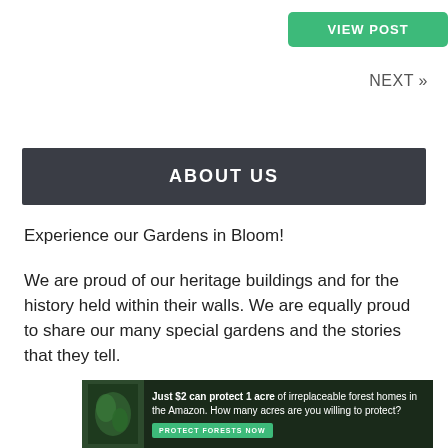[Figure (other): Green 'VIEW POST' button centered at top of page]
NEXT »
ABOUT US
Experience our Gardens in Bloom!
We are proud of our heritage buildings and for the history held within their walls. We are equally proud to share our many special gardens and the stories that they tell.
[Figure (other): Green 'CONTACT' button centered]
[Figure (other): Advertisement banner: 'Just $2 can protect 1 acre of irreplaceable forest homes in the Amazon. How many acres are you willing to protect?' with PROTECT FORESTS NOW button]